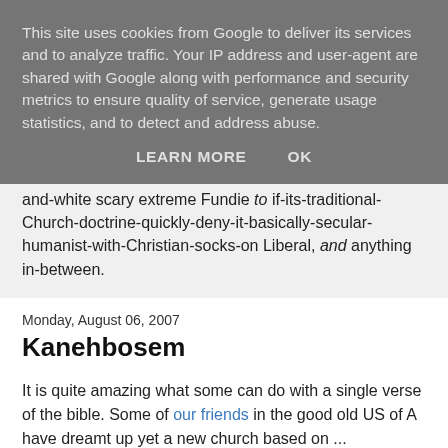This site uses cookies from Google to deliver its services and to analyze traffic. Your IP address and user-agent are shared with Google along with performance and security metrics to ensure quality of service, generate usage statistics, and to detect and address abuse.
LEARN MORE   OK
and-white scary extreme Fundie to if-its-traditional-Church-doctrine-quickly-deny-it-basically-secular-humanist-with-Christian-socks-on Liberal, and anything in-between.
Monday, August 06, 2007
Kanehbosem
It is quite amazing what some can do with a single verse of the bible. Some of our friends in the good old US of A have dreamt up yet a new church based on ...
Exodus 30:23.